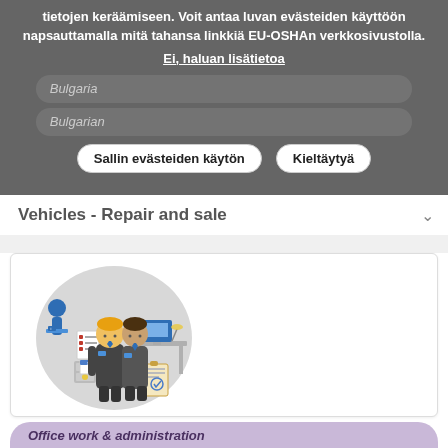tietojen keräämiseen. Voit antaa luvan evästeiden käyttöön napsauttamalla mitä tahansa linkkiä EU-OSHAn verkkosivustolla.
Ei, haluan lisätietoa
Bulgaria
Bulgarian
Sallin evästeiden käytön
Kieltäytyä
Vehicles - Repair and sale
[Figure (illustration): Illustration of two business people in suits with office work background elements including a desk, computer, filing cabinet, and documents.]
Linkki työkaluun
Office work & administration